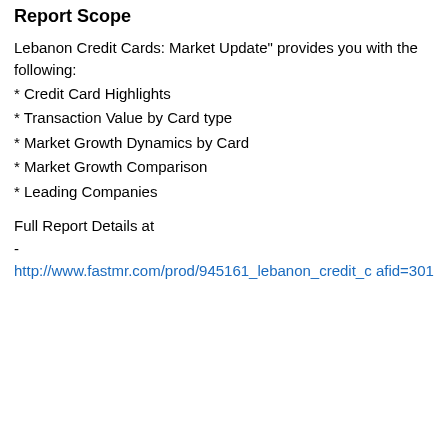Report Scope
Lebanon Credit Cards: Market Update" provides you with the following:
* Credit Card Highlights
* Transaction Value by Card type
* Market Growth Dynamics by Card
* Market Growth Comparison
* Leading Companies
Full Report Details at
-
http://www.fastmr.com/prod/945161_lebanon_credit_c afid=301